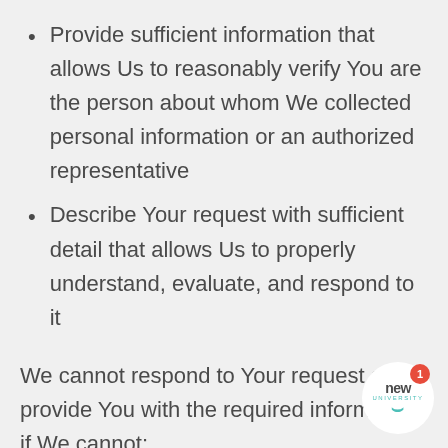Provide sufficient information that allows Us to reasonably verify You are the person about whom We collected personal information or an authorized representative
Describe Your request with sufficient detail that allows Us to properly understand, evaluate, and respond to it
We cannot respond to Your request or provide You with the required information if We cannot:
Verify Your identity or authority to make the request